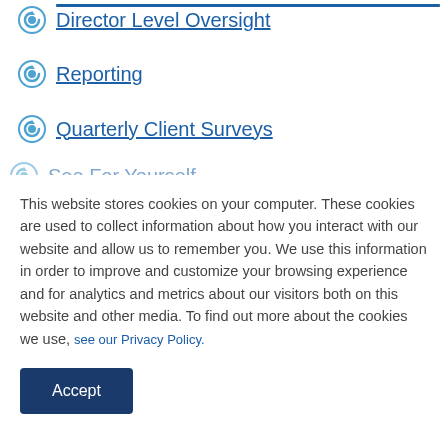Director Level Oversight
Reporting
Quarterly Client Surveys
See For Yourself
This website stores cookies on your computer. These cookies are used to collect information about how you interact with our website and allow us to remember you. We use this information in order to improve and customize your browsing experience and for analytics and metrics about our visitors both on this website and other media. To find out more about the cookies we use, see our Privacy Policy.